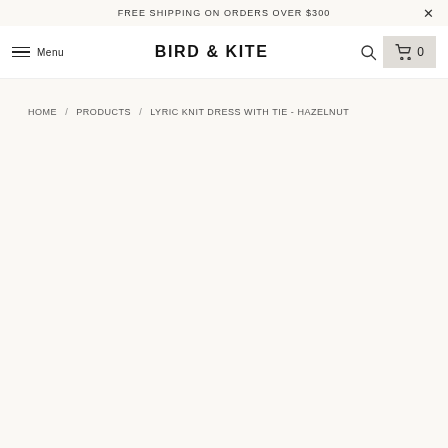FREE SHIPPING ON ORDERS OVER $300
BIRD & KITE
Menu
HOME / PRODUCTS / LYRIC KNIT DRESS WITH TIE - HAZELNUT